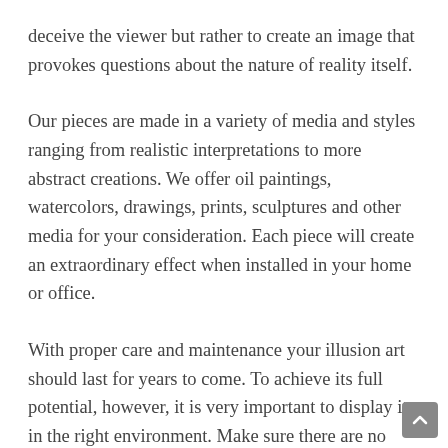deceive the viewer but rather to create an image that provokes questions about the nature of reality itself.
Our pieces are made in a variety of media and styles ranging from realistic interpretations to more abstract creations. We offer oil paintings, watercolors, drawings, prints, sculptures and other media for your consideration. Each piece will create an extraordinary effect when installed in your home or office.
With proper care and maintenance your illusion art should last for years to come. To achieve its full potential, however, it is very important to display it in the right environment. Make sure there are no direct sources of light shining on it and that the room where